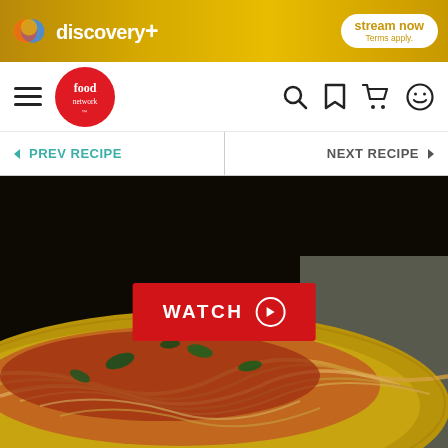[Figure (screenshot): Discovery+ advertisement banner with golden/yellow gradient background, Discovery+ logo (colorful circular icon), text 'discovery+', and a white 'stream now' button with 'Terms apply.' text]
[Figure (screenshot): Food Network website navigation bar with hamburger menu icon, Food Network red circle logo, search icon, bookmark icon, cart icon, and smiley face icon]
< PREV RECIPE
NEXT RECIPE >
[Figure (photo): A plate of spaghetti with meat sauce (bolognese) topped with fresh basil leaves on a yellow/golden plate, dark background, with a red WATCH button overlaid in the center]